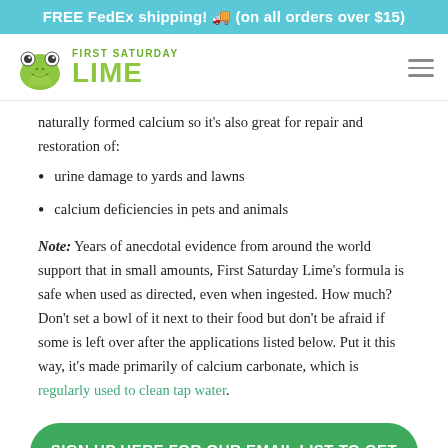FREE FedEx shipping! 🚚 (on all orders over $15)
[Figure (logo): First Saturday Lime logo: green cartoon frog face with 'FIRST SATURDAY' above 'LIME' in large green letters]
naturally formed calcium so it's also great for repair and restoration of:
urine damage to yards and lawns
calcium deficiencies in pets and animals
Note: Years of anecdotal evidence from around the world support that in small amounts, First Saturday Lime's formula is safe when used as directed, even when ingested. How much? Don't set a bowl of it next to their food but don't be afraid if some is left over after the applications listed below. Put it this way, it's made primarily of calcium carbonate, which is regularly used to clean tap water.
SIGN UP HERE FOR OUR EMAIL LIST TO GET $2.00 OFF YOUR FIRST ORDER!